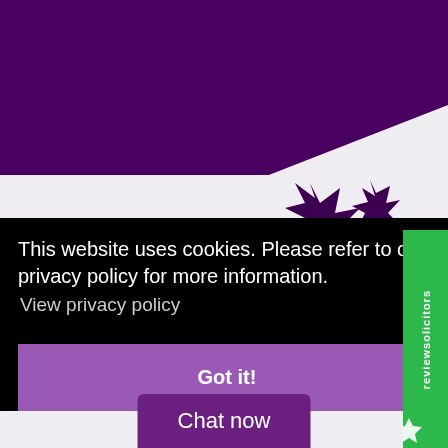[Figure (illustration): Website screenshot showing a purple branded solicitors website with a cookie consent overlay banner, a 'Got it!' button, a 'Chat now' button, and a ReviewSolicitors green badge on the right side.]
This website uses cookies. Please refer to our privacy policy for more information.
View privacy policy
Got it!
Chat now